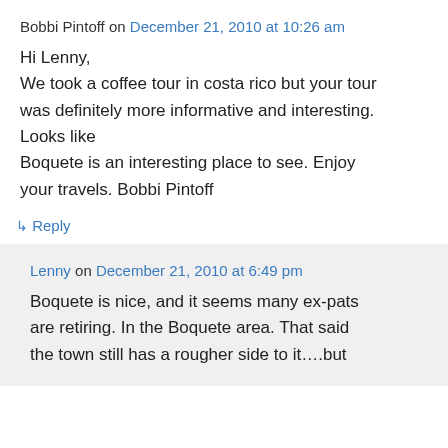Bobbi Pintoff on December 21, 2010 at 10:26 am
Hi Lenny,
We took a coffee tour in costa rico but your tour was definitely more informative and interesting. Looks like Boquete is an interesting place to see. Enjoy your travels. Bobbi Pintoff
↳ Reply
Lenny on December 21, 2010 at 6:49 pm
Boquete is nice, and it seems many ex-pats are retiring. In the Boquete area. That said the town still has a rougher side to it….but